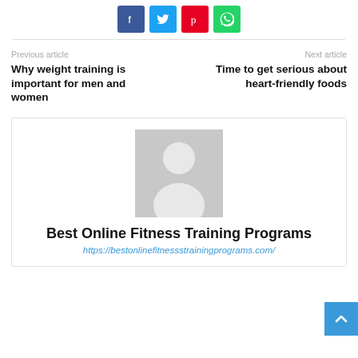[Figure (other): Social share buttons: Facebook (blue), Twitter (light blue), Pinterest (red), WhatsApp (green)]
Previous article
Why weight training is important for men and women
Next article
Time to get serious about heart-friendly foods
[Figure (photo): Generic author avatar placeholder (grey silhouette of a person)]
Best Online Fitness Training Programs
https://bestonlinefitnessstrainingprograms.com/